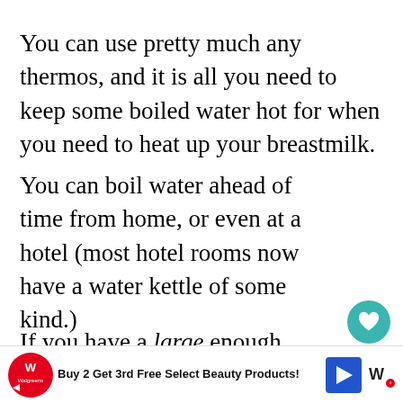You can use pretty much any thermos, and it is all you need to keep some boiled water hot for when you need to heat up your breastmilk.
You can boil water ahead of time from home, or even at a hotel (most hotel rooms now have a water kettle of some kind.)
If you have a large enough thermos, you ca plop the bottle in the hot water thermos. Th. Kitsure Thermos (on Amazon) is la to hold a bottle within its circumference, and is ottl wa
[Figure (other): UI overlay: heart/save button (teal circle with heart icon), share count badge showing 13, share icon panel, What's Next panel with thumbnail and text '7 Exclusive Pumping...']
[Figure (other): Advertisement bar: Walgreens logo, text 'Buy 2 Get 3rd Free Select Beauty Products!', blue arrow icon, and small logo on right]